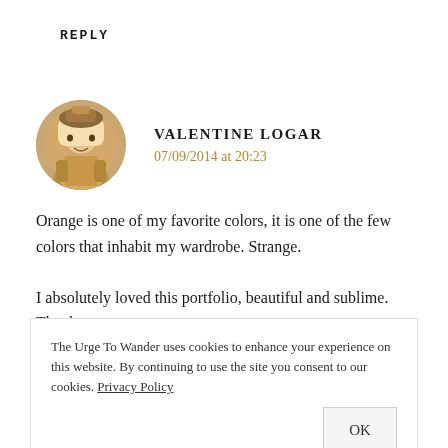REPLY
VALENTINE LOGAR
07/09/2014 at 20:23
Orange is one of my favorite colors, it is one of the few colors that inhabit my wardrobe. Strange.

I absolutely loved this portfolio, beautiful and sublime. Thank you
The Urge To Wander uses cookies to enhance your experience on this website. By continuing to use the site you consent to our cookies. Privacy Policy
OK